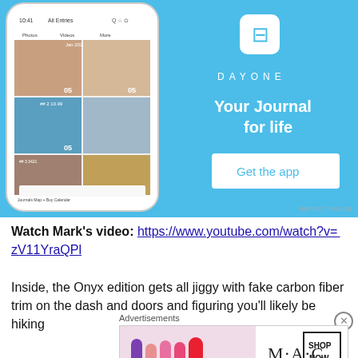[Figure (screenshot): DayOne app advertisement showing a phone mockup with photo journal entries and the tagline 'Your Journal for life' with a 'Get the app' button on a light blue background]
REPORT THIS AD
Watch Mark's video: https://www.youtube.com/watch?v=_zV11YraQPl
Inside, the Onyx edition gets all jiggy with fake carbon fiber trim on the dash and doors and figuring you'll likely be hiking
Advertisements
[Figure (photo): MAC cosmetics advertisement showing colorful lipsticks with M·A·C logo and SHOP NOW button]